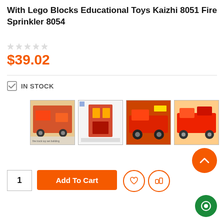With Lego Blocks Educational Toys Kaizhi 8051 Fire Sprinkler 8054
★★★★★
$39.02
IN STOCK
[Figure (photo): Four product thumbnail images of Lego fire truck/sprinkler toy sets (Kaizhi 8051 and 8054)]
1
Add To Cart